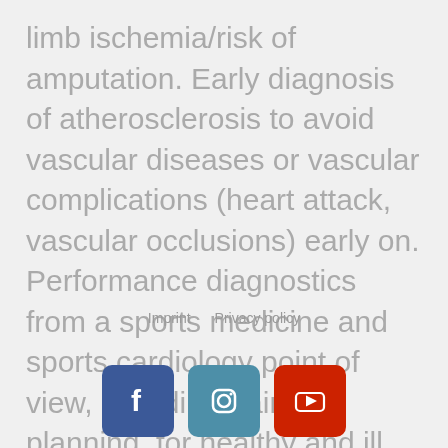limb ischemia/risk of amputation. Early diagnosis of atherosclerosis to avoid vascular diseases or vascular complications (heart attack, vascular occlusions) early on. Performance diagnostics from a sports medicine and sports cardiology point of view, including training planning, for healthy and ill amateur and professional athletes
Imprint   Privacy policy
[Figure (infographic): Social media icons: Facebook (blue), Instagram (teal/blue), YouTube (red)]